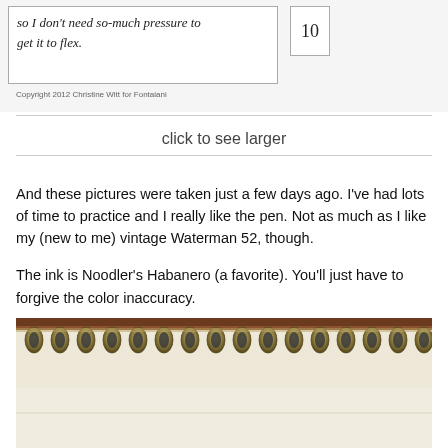[Figure (photo): Handwritten text in cursive on lined paper inside a box: 'so I don't need so much pressure to get it to flex.' with a score box showing '10' to the right. Copyright notice below: 'Copyright 2012 Christine Witt for Fontaiani']
click to see larger
And these pictures were taken just a few days ago. I've had lots of time to practice and I really like the pen. Not as much as I like my (new to me) vintage Waterman 52, though.
The ink is Noodler's Habanero (a favorite). You'll just have to forgive the color inaccuracy.
[Figure (photo): Close-up photograph of a spiral-bound notebook showing metal coil binding at the top, with cream/off-white notebook paper below.]